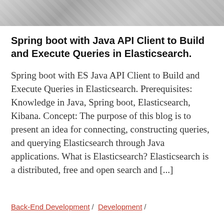[Figure (photo): Grayscale photo strip at top of page, showing abstract or people imagery]
Spring boot with Java API Client to Build and Execute Queries in Elasticsearch.
Spring boot with ES Java API Client to Build and Execute Queries in Elasticsearch. Prerequisites: Knowledge in Java, Spring boot, Elasticsearch, Kibana. Concept: The purpose of this blog is to present an idea for connecting, constructing queries, and querying Elasticsearch through Java applications. What is Elasticsearch? Elasticsearch is a distributed, free and open search and [...]
Back-End Development / Development /